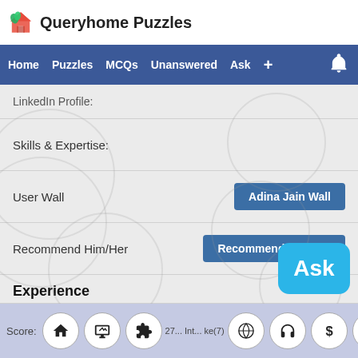🏠 Queryhome Puzzles
Home  Puzzles  MCQs  Unanswered  Ask  +
LinkedIn Profile:
Skills & Expertise:
User Wall   Adina Jain Wall
Recommend Him/Her   Recommend Him/Her
Experience
Education
Activity by Adina Jain
Score: